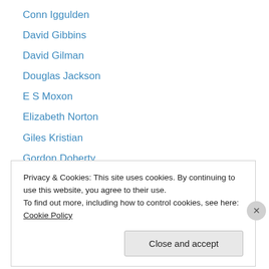Conn Iggulden
David Gibbins
David Gilman
Douglas Jackson
E S Moxon
Elizabeth Norton
Giles Kristian
Gordon Doherty
Guy Saville
Harry Sidebottom
I.D Roberts
Ian Ross
James Benmore
Privacy & Cookies: This site uses cookies. By continuing to use this website, you agree to their use.
To find out more, including how to control cookies, see here: Cookie Policy
Close and accept